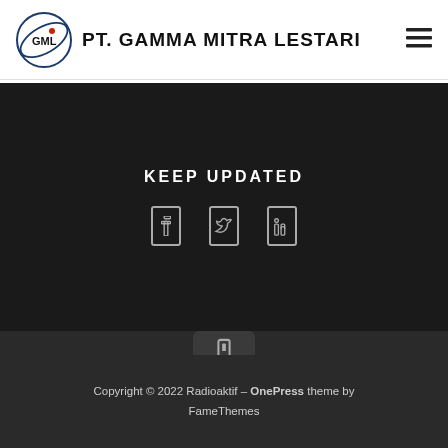[Figure (logo): GML logo with orbital ellipse and red dot, alongside text PT. GAMMA MITRA LESTARI]
KEEP UPDATED
[Figure (illustration): Three social media icons (rectangular outlined boxes) representing social links]
[Figure (illustration): Scroll-to-top arrow button (rectangular icon in a rounded box on a triangular pedestal)]
Copyright © 2022 Radioaktif – OnePress theme by FameThemes